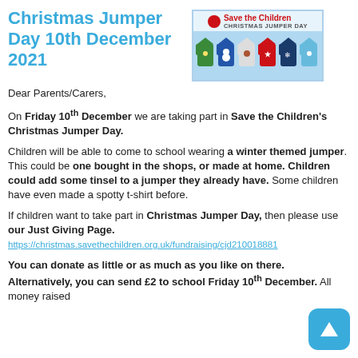Christmas Jumper Day 10th December 2021
[Figure (logo): Save the Children Christmas Jumper Day logo with red circle icon, charity name, and illustrated Christmas jumpers]
Dear Parents/Carers,
On Friday 10th December we are taking part in Save the Children's Christmas Jumper Day.
Children will be able to come to school wearing a winter themed jumper. This could be one bought in the shops, or made at home. Children could add some tinsel to a jumper they already have. Some children have even made a spotty t-shirt before.
If children want to take part in Christmas Jumper Day, then please use our Just Giving Page.
https://christmas.savethechildren.org.uk/fundraising/cjd210018881
You can donate as little or as much as you like on there. Alternatively, you can send £2 to school Friday 10th December. All money raised